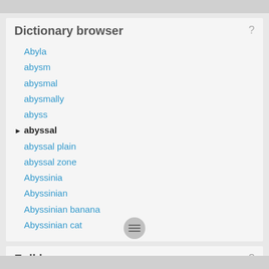Dictionary browser
Abyla
abysm
abysmal
abysmally
abyss
abyssal
abyssal plain
abyssal zone
Abyssinia
Abyssinian
Abyssinian banana
Abyssinian cat
Full browser